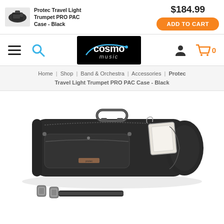[Figure (photo): Small thumbnail of Protec Travel Light Trumpet PRO PAC Case - Black]
Protec Travel Light Trumpet PRO PAC Case - Black
$184.99
ADD TO CART
[Figure (logo): Cosmo Music logo on black background with blue arc and white text]
Home | Shop | Band & Orchestra | Accessories | Protec Travel Light Trumpet PRO PAC Case - Black
[Figure (photo): Protec Travel Light Trumpet PRO PAC Case in black, shown with shoulder strap, luggage tag, and multiple zippered compartments]